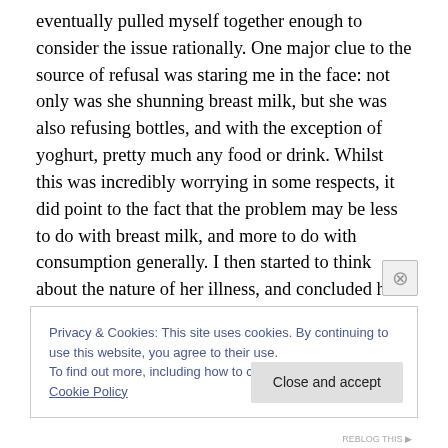eventually pulled myself together enough to consider the issue rationally. One major clue to the source of refusal was staring me in the face: not only was she shunning breast milk, but she was also refusing bottles, and with the exception of yoghurt, pretty much any food or drink. Whilst this was incredibly worrying in some respects, it did point to the fact that the problem may be less to do with breast milk, and more to do with consumption generally. I then started to think about the nature of her illness, and concluded her symptoms were pretty similar to the ones that I had at the time – a runny nose, cough… and a sore
Privacy & Cookies: This site uses cookies. By continuing to use this website, you agree to their use.
To find out more, including how to control cookies, see here: Cookie Policy
Close and accept
REBLOG THIS ▶